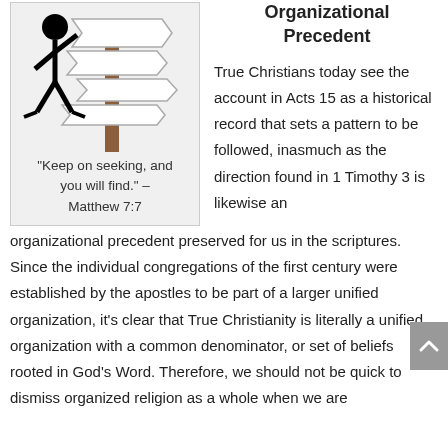[Figure (illustration): Stick figure person looking at a signpost with multiple directional signs pointing different ways]
"Keep on seeking, and you will find." – Matthew 7:7
Organizational Precedent
True Christians today see the account in Acts 15 as a historical record that sets a pattern to be followed, inasmuch as the direction found in 1 Timothy 3 is likewise an organizational precedent preserved for us in the scriptures. Since the individual congregations of the first century were established by the apostles to be part of a larger unified organization, it's clear that True Christianity is literally a unified organization with a common denominator, or set of beliefs rooted in God's Word. Therefore, we should not be quick to dismiss organized religion as a whole when we are